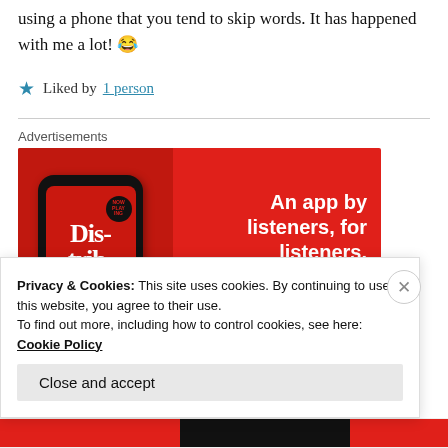using a phone that you tend to skip words. It has happened with me a lot! 😂
★ Liked by 1 person
Advertisements
[Figure (illustration): Red advertisement banner for 'Distributed' app. Left side shows a smartphone with 'Distributed' text on screen. Right side reads 'An app by listeners, for listeners.' with a 'Download now' button.]
Privacy & Cookies: This site uses cookies. By continuing to use this website, you agree to their use.
To find out more, including how to control cookies, see here: Cookie Policy
Close and accept